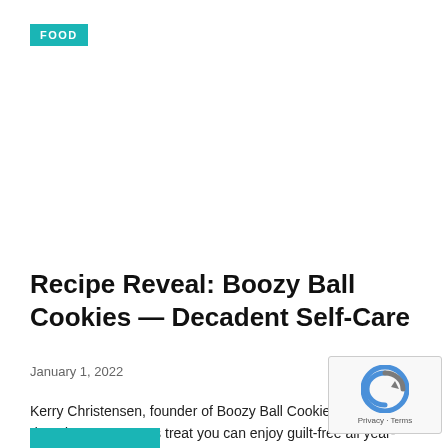FOOD
Recipe Reveal: Boozy Ball Cookies — Decadent Self-Care
January 1, 2022
Kerry Christensen, founder of Boozy Ball Cookies, shares a decadent New Year's treat you can enjoy guilt-free all year-round.